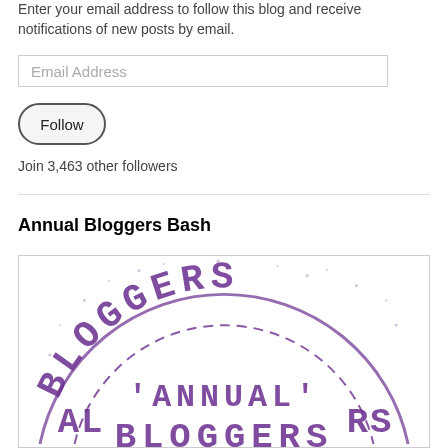Enter your email address to follow this blog and receive notifications of new posts by email.
Email Address
Follow
Join 3,463 other followers
Annual Bloggers Bash
[Figure (logo): Circular rubber stamp style logo with purple text reading BLOGGERS ANNUAL BLOGGERS arranged in an arc, with a dashed inner circle border]